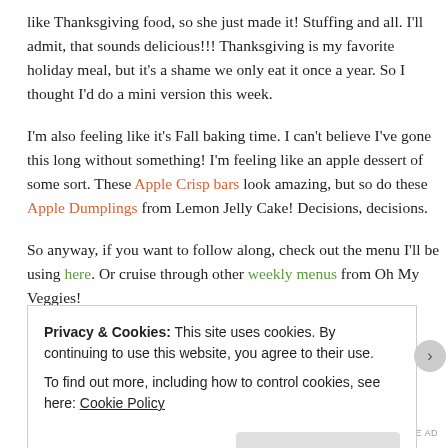like Thanksgiving food, so she just made it! Stuffing and all. I'll admit, that sounds delicious!!! Thanksgiving is my favorite holiday meal, but it's a shame we only eat it once a year. So I thought I'd do a mini version this week.
I'm also feeling like it's Fall baking time. I can't believe I've gone this long without something! I'm feeling like an apple dessert of some sort. These Apple Crisp bars look amazing, but so do these Apple Dumplings from Lemon Jelly Cake! Decisions, decisions.
So anyway, if you want to follow along, check out the menu I'll be using here. Or cruise through other weekly menus from Oh My Veggies!
Privacy & Cookies: This site uses cookies. By continuing to use this website, you agree to their use.
To find out more, including how to control cookies, see here: Cookie Policy